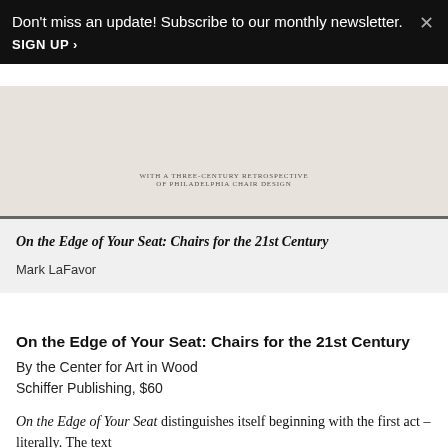Don't miss an update! Subscribe to our monthly newsletter. SIGN UP ›
[Figure (photo): Partial view of a book cover with text: WITH A THREE-CENTURY RETROSPECTIVE OF PHILADELPHIA CHAIR DESIGN on a pale pink/cream background]
On the Edge of Your Seat: Chairs for the 21st Century
Mark LaFavor
On the Edge of Your Seat: Chairs for the 21st Century
By the Center for Art in Wood
Schiffer Publishing, $60
On the Edge of Your Seat distinguishes itself beginning with the first act – literally. The text